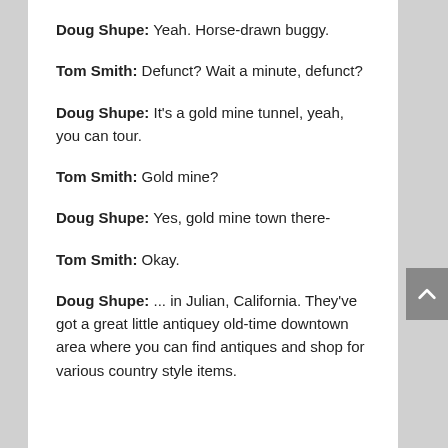Doug Shupe: Yeah. Horse-drawn buggy.
Tom Smith: Defunct? Wait a minute, defunct?
Doug Shupe: It's a gold mine tunnel, yeah, you can tour.
Tom Smith: Gold mine?
Doug Shupe: Yes, gold mine town there-
Tom Smith: Okay.
Doug Shupe: ... in Julian, California. They've got a great little antiquey old-time downtown area where you can find antiques and shop for various country style items.